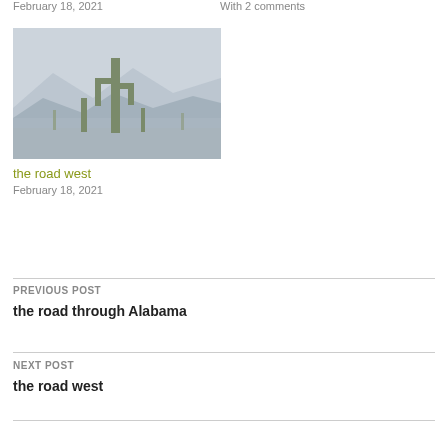February 18, 2021
With 2 comments
[Figure (photo): Desert landscape with tall saguaro cactus in foggy/hazy conditions with mountains in background]
the road west
February 18, 2021
PREVIOUS POST
the road through Alabama
NEXT POST
the road west